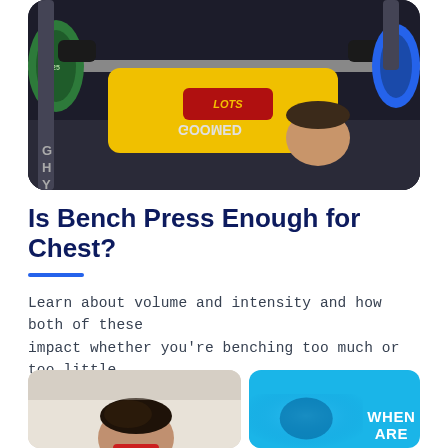[Figure (photo): A powerlifter performing a bench press with a yellow bench shirt, lying on a bench with a heavily loaded barbell. The athlete is wearing black wrist wraps. The background shows gym equipment.]
Is Bench Press Enough for Chest?
Learn about volume and intensity and how both of these impact whether you're benching too much or too little.
[Figure (photo): Bottom left: partial view of a person's head with dark styled hair wearing a red shirt in a gym setting. Bottom right: blue-tinted image with white bold text reading WHEN ARE]
WHEN ARE